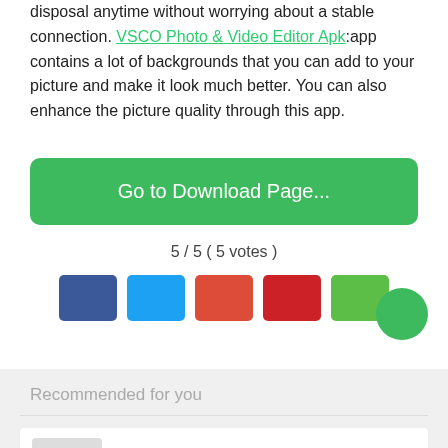disposal anytime without worrying about a stable connection. VSCO Photo & Video Editor Apk:app contains a lot of backgrounds that you can add to your picture and make it look much better. You can also enhance the picture quality through this app.
Go to Download Page...
5 / 5 ( 5 votes )
[Figure (other): Social share icon buttons: Facebook (blue), Twitter (light blue), Google+ (orange-red), Pinterest (red), WhatsApp (green)]
Recommended for you
Pixellab Mod Apk v2.1.0 (Premium Unlocked) Do...